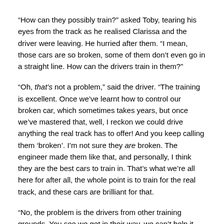“How can they possibly train?” asked Toby, tearing his eyes from the track as he realised Clarissa and the driver were leaving. He hurried after them. “I mean, those cars are so broken, some of them don’t even go in a straight line. How can the drivers train in them?”
“Oh, that’s not a problem,” said the driver. “The training is excellent. Once we’ve learnt how to control our broken car, which sometimes takes years, but once we’ve mastered that, well, I reckon we could drive anything the real track has to offer! And you keep calling them ‘broken’. I’m not sure they are broken. The engineer made them like that, and personally, I think they are the best cars to train in. That’s what we’re all here for after all, the whole point is to train for the real track, and these cars are brilliant for that.
“No, the problem is the drivers from other training grounds. You see we get in their way, we can’t help it. Sometimes we damage their cars, we certainly mess up the races at the race circuit. Nothing we can do to avoid that, and they find us a challenge, think we’re challenging for them. The truth is...